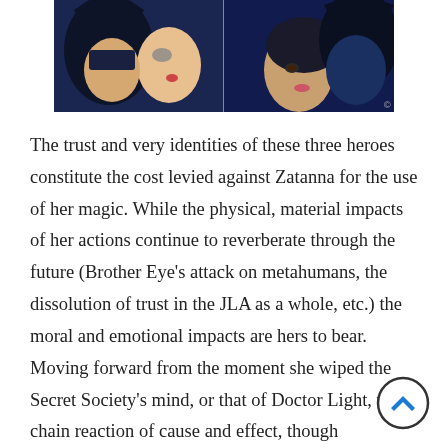[Figure (illustration): Two comic book panels side by side showing Batman and Catwoman facing each other. Left panel shows them in classic animated style, right panel shows a more dramatic close-up of their faces nearly touching.]
The trust and very identities of these three heroes constitute the cost levied against Zatanna for the use of her magic. While the physical, material impacts of her actions continue to reverberate through the future (Brother Eye's attack on metahumans, the dissolution of trust in the JLA as a whole, etc.) the moral and emotional impacts are hers to bear. Moving forward from the moment she wiped the Secret Society's mind, or that of Doctor Light, the chain reaction of cause and effect, though physically independent, is intrinsically tied to her emotional and moral